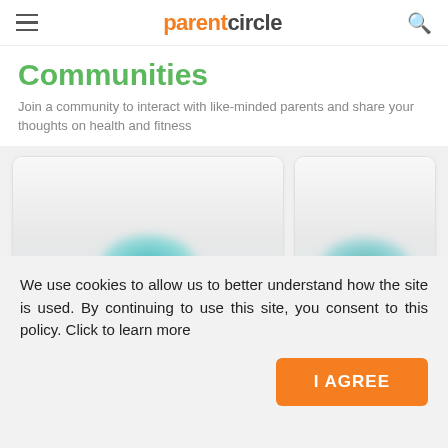parentcircle
Communities
Join a community to interact with like-minded parents and share your thoughts on health and fitness
[Figure (illustration): Two community card thumbnails with blurred teal blob images on light grey backgrounds]
We use cookies to allow us to better understand how the site is used. By continuing to use this site, you consent to this policy. Click to learn more
I AGREE